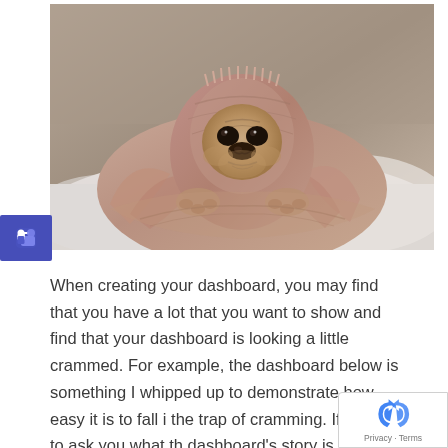[Figure (photo): A pug dog wrapped snugly in a pink/beige knitted blanket or sweater, lying on a white bed, looking directly at the camera with a grumpy or sad expression.]
When creating your dashboard, you may find that you have a lot that you want to show and find that your dashboard is looking a little crammed. For example, the dashboard below is something I whipped up to demonstrate how easy it is to fall into the trap of cramming. If I were to ask you what the dashboard's story is, I think you might have some